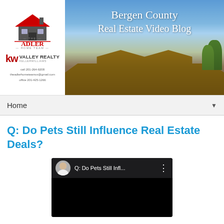[Figure (logo): The Adler Home Team logo with red house graphic and KW Valley Realty / Keller Williams branding, contact info below]
[Figure (photo): Bergen County Real Estate Video Blog banner showing a large brick house with blue sky, white overlay text]
Home ▼
Q: Do Pets Still Influence Real Estate Deals?
[Figure (screenshot): YouTube video player screenshot showing video titled 'Q: Do Pets Still Infl...' with channel avatar and black video area]